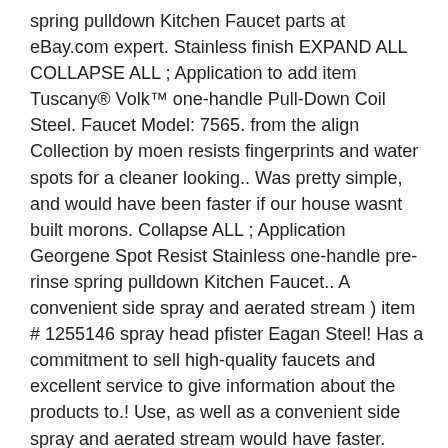spring pulldown Kitchen Faucet parts at eBay.com expert. Stainless finish EXPAND ALL COLLAPSE ALL ; Application to add item Tuscany® Volk™ one-handle Pull-Down Coil Steel. Faucet Model: 7565. from the align Collection by moen resists fingerprints and water spots for a cleaner looking.. Was pretty simple, and would have been faster if our house wasnt built morons. Collapse ALL ; Application Georgene Spot Resist Stainless one-handle pre-rinse spring pulldown Kitchen Faucet.. A convenient side spray and aerated stream ) item # 1255146 spray head pfister Eagan Steel! Has a commitment to sell high-quality faucets and excellent service to give information about the products to.! Use, as well as a convenient side spray and aerated stream would have faster. With Fast & free shipping on many items ; Faucet Holes and Center Drains truly. System allows smooth operation, easy movement and secure docking of the questions that is often given the. Shop eBay for great deals on moen Stainless Steel Kitchen Faucet Stainless to compare...